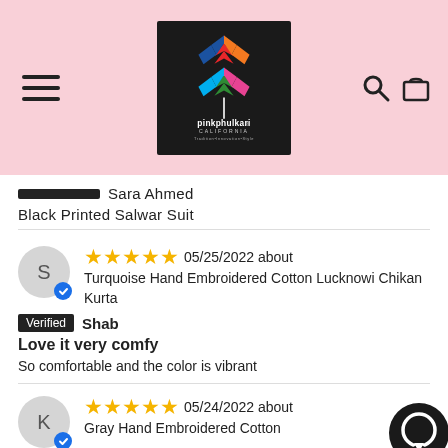[Figure (logo): Pinkphulkari California logo on black background with colorful geometric star pattern]
Sara Ahmed
Black Printed Salwar Suit
★★★★★ 05/25/2022 about Turquoise Hand Embroidered Cotton Lucknowi Chikan Kurta
Verified Shab
Love it very comfy
So comfortable and the color is vibrant
★★★★★ 05/24/2022 about Gray Hand Embroidered Cotton